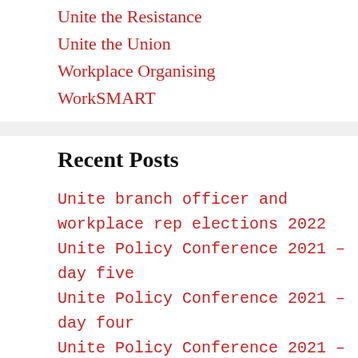Unite the Resistance
Unite the Union
Workplace Organising
WorkSMART
Recent Posts
Unite branch officer and workplace rep elections 2022
Unite Policy Conference 2021 – day five
Unite Policy Conference 2021 – day four
Unite Policy Conference 2021 – day three
Unite Policy Conference – day two
Tags